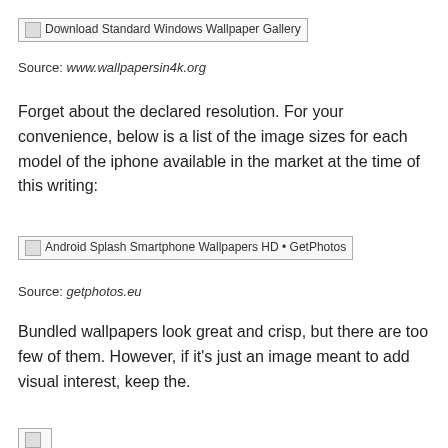[Figure (other): Broken image placeholder: Download Standard Windows Wallpaper Gallery]
Source: www.wallpapersin4k.org
Forget about the declared resolution. For your convenience, below is a list of the image sizes for each model of the iphone available in the market at the time of this writing:
[Figure (other): Broken image placeholder: Android Splash Smartphone Wallpapers HD • GetPhotos]
Source: getphotos.eu
Bundled wallpapers look great and crisp, but there are too few of them. However, if it's just an image meant to add visual interest, keep the.
[Figure (other): Broken image placeholder: partial, cut off at bottom]